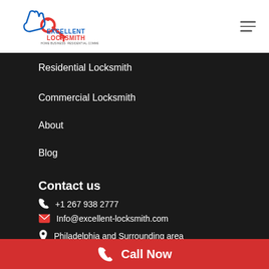[Figure (logo): Excellent Locksmith logo with hand holding a key and circular lock symbol, blue and red colors, text: EXCELLENT LOCKSMITH HOME BUSINESS RESIDENTIAL COMMERCIAL]
Residential Locksmith
Commercial Locksmith
About
Blog
Contact us
+1 267 938 2777
Info@excellent-locksmith.com
Philadelphia and Surrounding area
Call Now